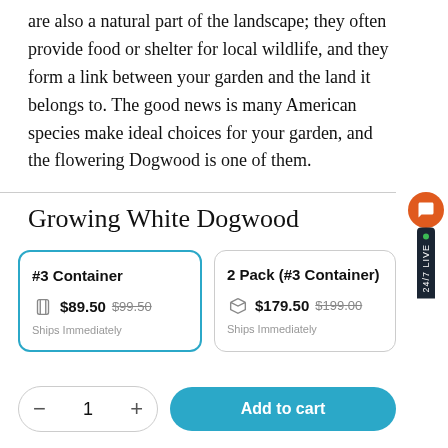are also a natural part of the landscape; they often provide food or shelter for local wildlife, and they form a link between your garden and the land it belongs to. The good news is many American species make ideal choices for your garden, and the flowering Dogwood is one of them.
Growing White Dogwood
[Figure (screenshot): Product selection cards showing '#3 Container' at $89.50 (was $99.50, Ships Immediately) and '2 Pack (#3 Container)' at $179.50 (was $199.00, Ships Immediately), with quantity selector and Add to cart button]